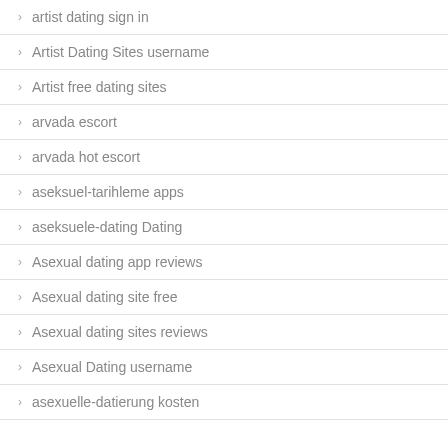artist dating sign in
Artist Dating Sites username
Artist free dating sites
arvada escort
arvada hot escort
aseksuel-tarihleme apps
aseksuele-dating Dating
Asexual dating app reviews
Asexual dating site free
Asexual dating sites reviews
Asexual Dating username
asexuelle-datierung kosten